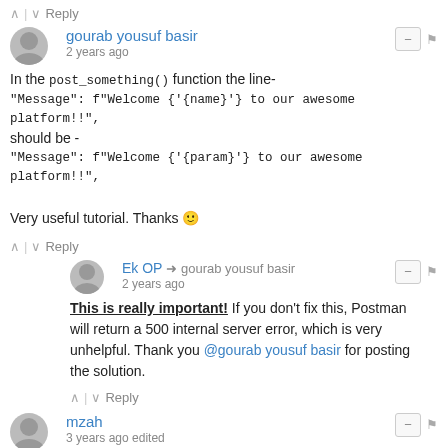^ | v Reply
gourab yousuf basir
2 years ago
In the post_something() function the line-
"Message": f"Welcome {name} to our awesome platform!!",
should be -
"Message": f"Welcome {param} to our awesome platform!!",

Very useful tutorial. Thanks 🙂
^ | v Reply
Ek OP → gourab yousuf basir
2 years ago
This is really important! If you don't fix this, Postman will return a 500 internal server error, which is very unhelpful. Thank you @gourab yousuf basir for posting the solution.
^ | v Reply
mzah
3 years ago edited
Thanks a lot this was quite helpful